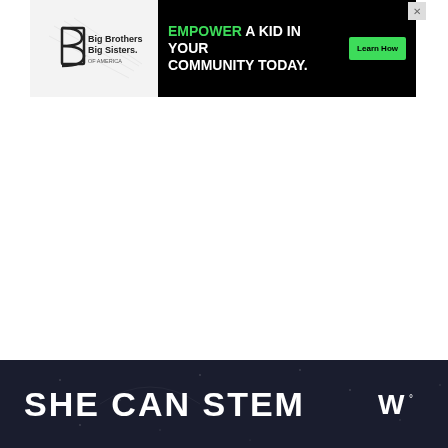[Figure (other): Big Brothers Big Sisters of America logo with advertisement: 'EMPOWER A KID IN YOUR COMMUNITY TODAY.' with green 'Learn How' button on black background. Close X button top right.]
[Figure (infographic): Social media sidebar buttons: blue heart/like button, count '2', and share button with plus icon]
[Figure (infographic): WHAT'S NEXT card showing thumbnail of Best Michigan cookbook cover and title '50 Best Michigan Co...']
[Figure (other): Dark navy banner with text 'SHE CAN STEM' in large white bold letters and a logo mark on the right side]